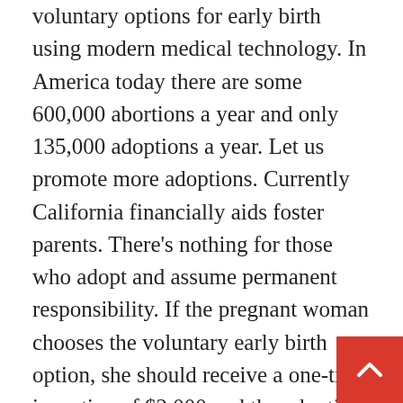voluntary options for early birth using modern medical technology. In America today there are some 600,000 abortions a year and only 135,000 adoptions a year. Let us promote more adoptions. Currently California financially aids foster parents. There's nothing for those who adopt and assume permanent responsibility. If the pregnant woman chooses the voluntary early birth option, she should receive a one-time incentive of $2,000 and the adoptive parents should receive $10,000 a year tax free per child until the age of 18.
Swain: I am for women that have been victims of sexual assault, incest, or may suffer a medical emergency if they were to conceive or give birth having access to abortions if needed. However, when it comes to women like Norma Leah Nelson